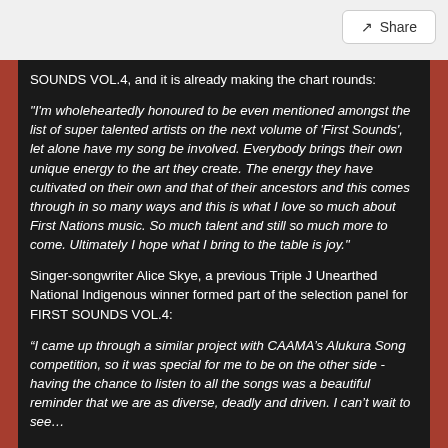Share
SOUNDS VOL.4, and it is already making the chart rounds:
"I'm wholeheartedly honoured to be even mentioned amongst the list of super talented artists on the next volume of 'First Sounds', let alone have my song be involved. Everybody brings their own unique energy to the art they create. The energy they have cultivated on their own and that of their ancestors and this comes through in so many ways and this is what I love so much about First Nations music. So much talent and still so much more to come. Ultimately I hope what I bring to the table is joy."
Singer-songwriter Alice Skye, a previous Triple J Unearthed National Indigenous winner formed part of the selection panel for FIRST SOUNDS VOL.4:
“I came up through a similar project with CAAMA’s Alukura Song competition, so it was special for me to be on the other side - having the chance to listen to all the songs was a beautiful reminder that we are as diverse, deadly and driven. I can’t wait to see…